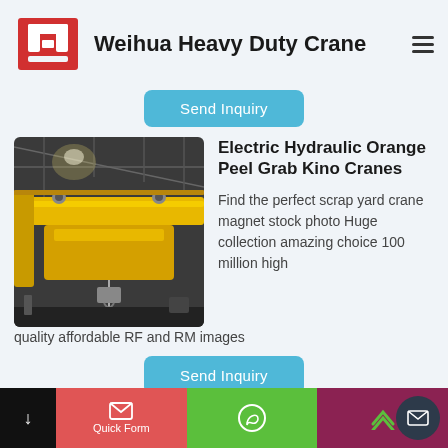[Figure (logo): Weihua Heavy Duty Crane logo — red stylized crane/machinery icon]
Weihua Heavy Duty Crane
Send Inquiry
[Figure (photo): Yellow overhead bridge crane in an industrial warehouse/factory setting]
Electric Hydraulic Orange Peel Grab Kino Cranes
Find the perfect scrap yard crane magnet stock photo Huge collection amazing choice 100 million high quality affordable RF and RM images
Send Inquiry
Quick Form